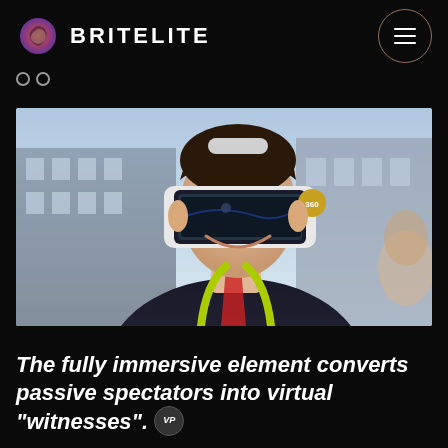BRITELITE
[Figure (photo): Person wearing a VR headset (360 branded Samsung Gear VR) outdoors, smiling, wearing a suit with a lanyard, with a building in the background.]
The fully immersive element converts passive spectators into virtual "witnesses".